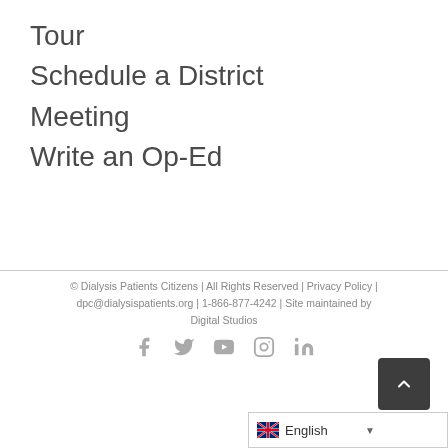Tour
Schedule a District Meeting
Write an Op-Ed
© Dialysis Patients Citizens | All Rights Reserved | Privacy Policy | dpc@dialysispatients.org | 1-866-877-4242 | Site maintained by Digital Studios